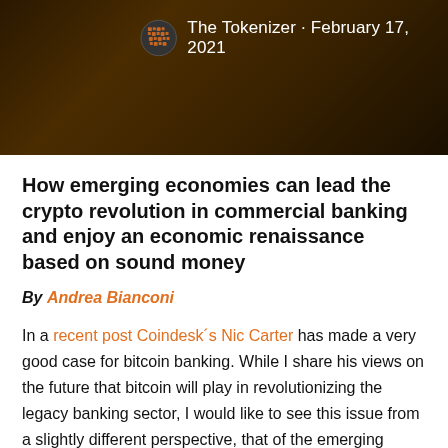[Figure (photo): Dark golden/brown textured background with a globe icon and publication header text 'The Tokenizer · February 17, 2021']
The Tokenizer · February 17, 2021
How emerging economies can lead the crypto revolution in commercial banking and enjoy an economic renaissance based on sound money
By Andrea Bianconi
In a recent post Coindesk´s Nic Carter has made a very good case for bitcoin banking. While I share his views on the future that bitcoin will play in revolutionizing the legacy banking sector, I would like to see this issue from a slightly different perspective, that of the emerging economies. The definition of